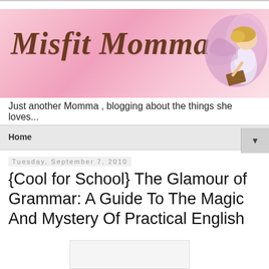[Figure (illustration): Pink banner header for 'Misfit Momma' blog with cursive brown text and a fairy angel illustration in the top right corner]
Just another Momma , blogging about the things she loves...
Home
Tuesday, September 7, 2010
{Cool for School} The Glamour of Grammar: A Guide To The Magic And Mystery Of Practical English
[Figure (photo): Book cover image partially visible at the bottom of the page]